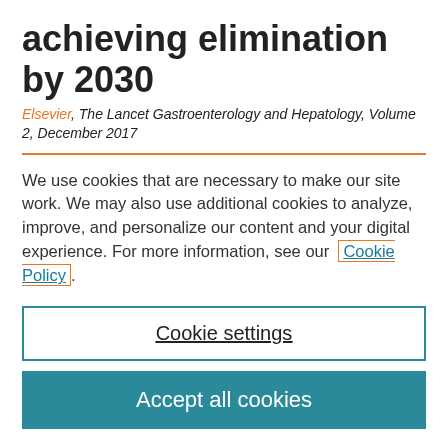achieving elimination by 2030
Elsevier, The Lancet Gastroenterology and Hepatology, Volume 2, December 2017
We use cookies that are necessary to make our site work. We may also use additional cookies to analyze, improve, and personalize our content and your digital experience. For more information, see our Cookie Policy.
Cookie settings
Accept all cookies